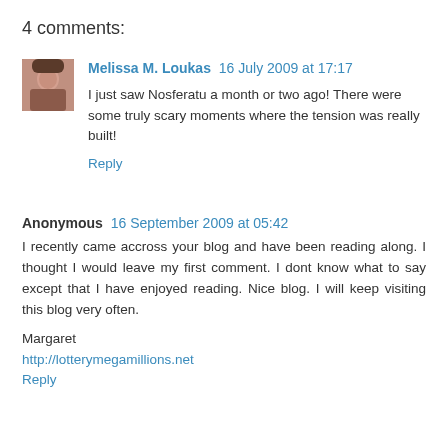4 comments:
Melissa M. Loukas  16 July 2009 at 17:17
I just saw Nosferatu a month or two ago! There were some truly scary moments where the tension was really built!
Reply
Anonymous  16 September 2009 at 05:42
I recently came accross your blog and have been reading along. I thought I would leave my first comment. I dont know what to say except that I have enjoyed reading. Nice blog. I will keep visiting this blog very often.
Margaret
http://lotterymegamillions.net
Reply